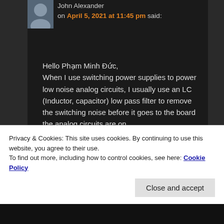John Alexander on April 5, 2021 at 11:45 pm said:
Hello Phạm Minh Đức,
When I use switching power supplies to power low noise analog circuits, I usually use an LC (Inductor, capacitor) low pass filter to remove the switching noise before it goes to the board the analog circuits are on.
Your microscope looks very good.
We learn far more by doing than just studying alone. I wish you the
Privacy & Cookies: This site uses cookies. By continuing to use this website, you agree to their use.
To find out more, including how to control cookies, see here: Cookie Policy